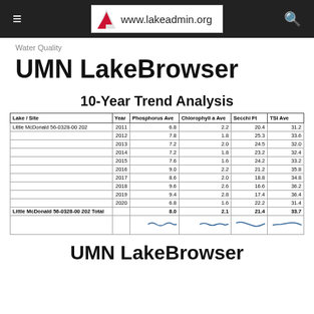www.lakeadmin.org
Water Quality
UMN LakeBrowser
10-Year Trend Analysis
| Lake / Site | Year | Phosphorus Ave | Chlorophyll a Ave | Secchi Ft | TSI Ave |
| --- | --- | --- | --- | --- | --- |
| Little McDonald 56-0328-00 202 | 2011 | 6.8 | 2.2 | 20.4 | 31.2 |
|  | 2012 | 7.8 | 1.8 | 25.3 | 33.6 |
|  | 2013 | 7.2 | 2.0 | 24.5 | 32.0 |
|  | 2014 | 7.2 | 1.8 | 23.2 | 32.4 |
|  | 2015 | 7.6 | 1.6 | 24.2 | 33.2 |
|  | 2016 | 9.0 | 2.2 | 21.2 | 35.8 |
|  | 2017 | 8.6 | 2.0 | 18.8 | 34.8 |
|  | 2018 | 9.6 | 2.6 | 16.6 | 36.2 |
|  | 2019 | 9.4 | 2.8 | 17.4 | 36.4 |
|  | 2020 | 6.8 | 1.6 | 22.2 | 31.4 |
| Little McDonald 56-0328-00 202 Total |  | 8.0 | 2.1 | 21.4 | 33.7 |
UMN LakeBrowser